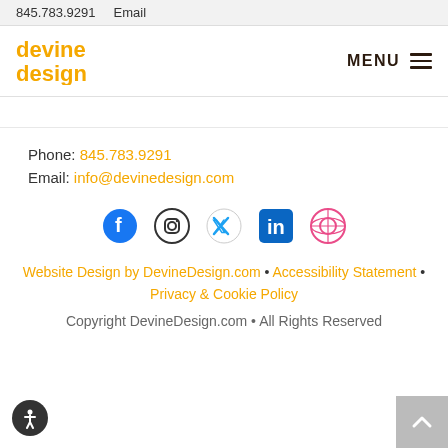845.783.9291   Email
[Figure (logo): Devine Design logo in orange/gold text]
MENU ≡
Phone: 845.783.9291
Email: info@devinedesign.com
[Figure (infographic): Social media icons row: Facebook, Instagram, Twitter, LinkedIn, Dribbble]
Website Design by DevineDesign.com • Accessibility Statement • Privacy & Cookie Policy
Copyright DevineDesign.com • All Rights Reserved